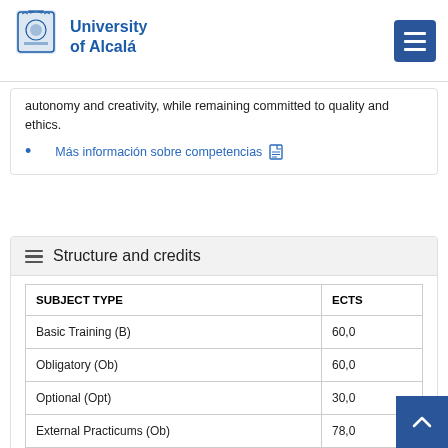University of Alcalá
autonomy and creativity, while remaining committed to quality and ethics.
Más información sobre competencias [PDF icon]
Structure and credits
| SUBJECT TYPE | ECTS |
| --- | --- |
| Basic Training (B) | 60,0 |
| Obligatory (Ob) | 60,0 |
| Optional (Opt) | 30,0 |
| External Practicums (Ob) | 78,0 |
| Final Project (Ob) | 12,0 |